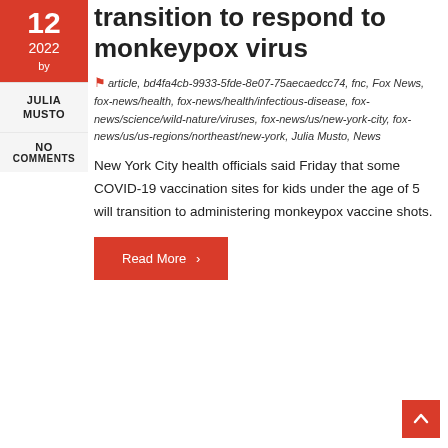transition to respond to monkeypox virus
article, bd4fa4cb-9933-5fde-8e07-75aecaedcc74, fnc, Fox News, fox-news/health, fox-news/health/infectious-disease, fox-news/science/wild-nature/viruses, fox-news/us/new-york-city, fox-news/us/us-regions/northeast/new-york, Julia Musto, News
New York City health officials said Friday that some COVID-19 vaccination sites for kids under the age of 5 will transition to administering monkeypox vaccine shots.
Read More >